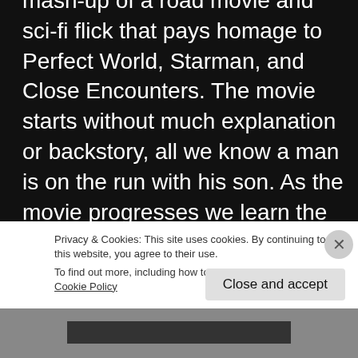mash-up of a road movie and sci-fi flick that pays homage to Perfect World, Starman, and Close Encounters. The movie starts without much explanation or backstory, all we know a man is on the run with his son. As the movie progresses we learn the boy has special powers and is dying. His father must keep him alive while the government and a religious sect a... t... h...
Privacy & Cookies: This site uses cookies. By continuing to use this website, you agree to their use.
To find out more, including how to control cookies, see here: Cookie Policy
Close and accept